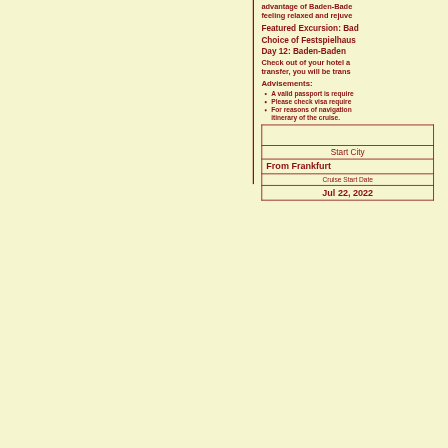advantage of Baden-Baden feeling relaxed and rejuve...
Featured Excursion: Bad...
Choice of Festspielhaus ...
Day 12: Baden-Baden
Check out of your hotel a... transfer, you will be trans...
Advisements:
A valid passport is require...
Please check visa require...
For reasons of navigation... itinerary of the cruise.
|  | Start City |  |
| --- | --- | --- |
| From Frankfurt |  |  |
| Cruise Start Date |  |  |
| Jul 22, 2022 |  |  |